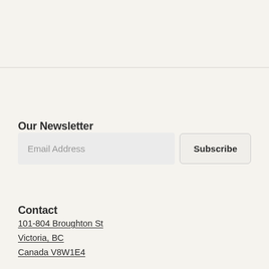Our Newsletter
Email Address
Subscribe
Contact
101-804 Broughton St
Victoria, BC
Canada V8W1E4